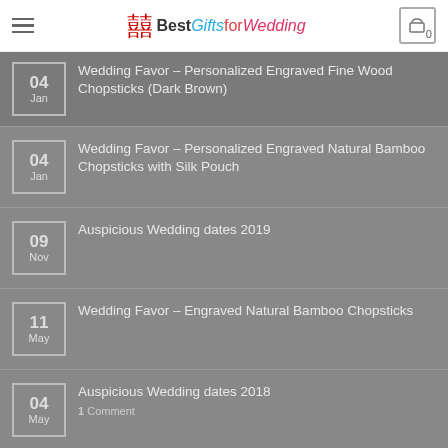BestGiftsforWedding
04 Jan – Wedding Favor – Personalized Engraved Fine Wood Chopsticks (Dark Brown)
04 Jan – Wedding Favor – Personalized Engraved Natural Bamboo Chopsticks with Silk Pouch
09 Nov – Auspicious Wedding dates 2019
11 May – Wedding Favor – Engraved Natural Bamboo Chopsticks
04 May – Auspicious Wedding dates 2018 – 1 Comment
RECENT REVIEWS